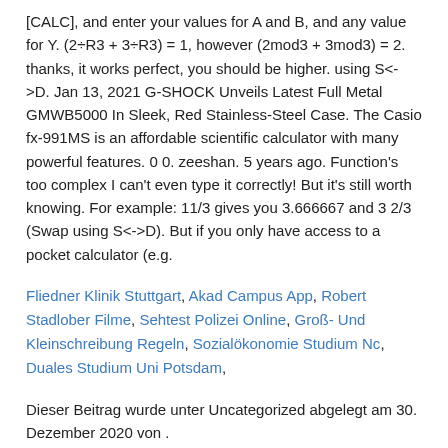[CALC], and enter your values for A and B, and any value for Y. (2÷R3 + 3÷R3) = 1, however (2mod3 + 3mod3) = 2. thanks, it works perfect, you should be higher. using S<->D. Jan 13, 2021 G-SHOCK Unveils Latest Full Metal GMWB5000 In Sleek, Red Stainless-Steel Case. The Casio fx-991MS is an affordable scientific calculator with many powerful features. 0 0. zeeshan. 5 years ago. Function's too complex I can't even type it correctly! But it's still worth knowing. For example: 11/3 gives you 3.666667 and 3 2/3 (Swap using S<->D). But if you only have access to a pocket calculator (e.g.
Fliedner Klinik Stuttgart, Akad Campus App, Robert Stadlober Filme, Sehtest Polizei Online, Groß- Und Kleinschreibung Regeln, Sozialökonomie Studium Nc, Duales Studium Uni Potsdam,
Dieser Beitrag wurde unter Uncategorized abgelegt am 30. Dezember 2020 von .